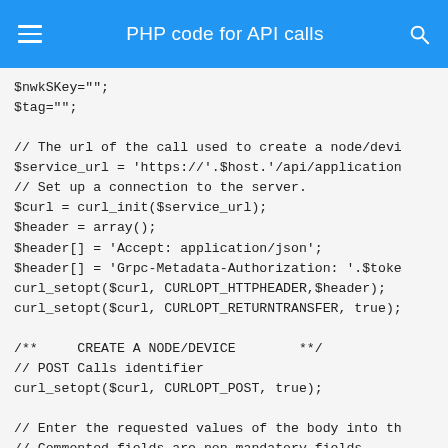PHP code for API calls
$nwkSKey="";
$tag="";

// The url of the call used to create a node/devi
$service_url = 'https://'.$host.'/api/application
// Set up a connection to the server.
$curl = curl_init($service_url);
$header = array();
$header[] = 'Accept: application/json';
$header[] = 'Grpc-Metadata-Authorization: '.$toke
curl_setopt($curl, CURLOPT_HTTPHEADER,$header);
curl_setopt($curl, CURLOPT_RETURNTRANSFER, true);

/**     CREATE A NODE/DEVICE        **/
// POST Calls identifier
curl_setopt($curl, CURLOPT_POST, true);

// Enter the requested values of the body into th
// Commented fields are non-mandatory fields,
// if you want to modify some of those fields jus
$curl_post_data = array(